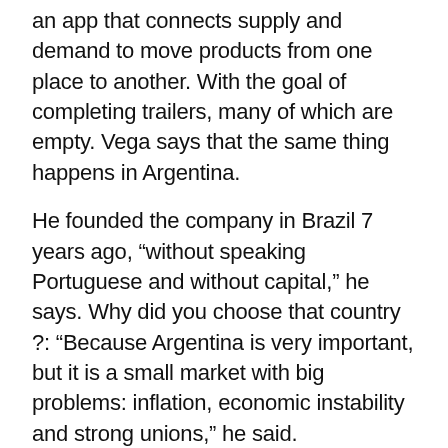an app that connects supply and demand to move products from one place to another. With the goal of completing trailers, many of which are empty. Vega says that the same thing happens in Argentina.
He founded the company in Brazil 7 years ago, “without speaking Portuguese and without capital,” he says. Why did you choose that country ?: “Because Argentina is very important, but it is a small market with big problems: inflation, economic instability and strong unions,” he said.
The ability to create companies with value
Despite the uncertainty, political and